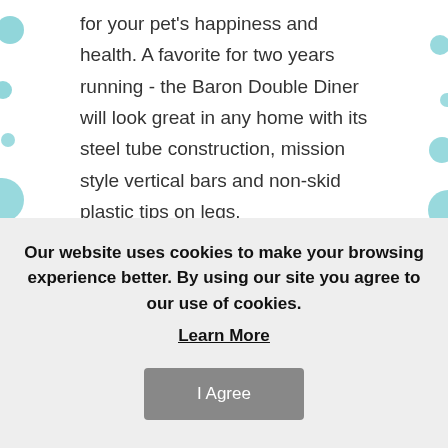for your pet's happiness and health. A favorite for two years running - the Baron Double Diner will look great in any home with its steel tube construction, mission style vertical bars and non-skid plastic tips on legs. Elevated dog bowls are a necessity to your pet's health because they allow your pet to eat without crouching down in an uncomfortable position. Dogs can develop back and neck problems when they eat from floor level bowls. If you have an...
Our website uses cookies to make your browsing experience better. By using our site you agree to our use of cookies.
Learn More
I Agree